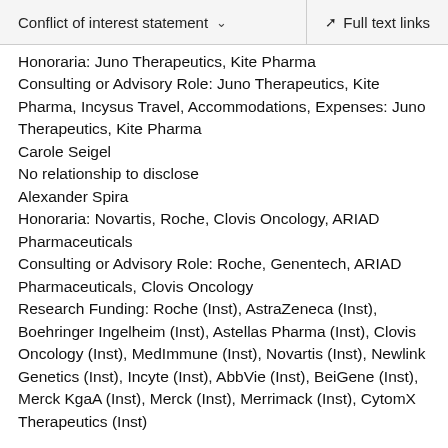Conflict of interest statement   Full text links
Honoraria: Juno Therapeutics, Kite Pharma
Consulting or Advisory Role: Juno Therapeutics, Kite Pharma, Incysus Travel, Accommodations, Expenses: Juno Therapeutics, Kite Pharma
Carole Seigel
No relationship to disclose
Alexander Spira
Honoraria: Novartis, Roche, Clovis Oncology, ARIAD Pharmaceuticals
Consulting or Advisory Role: Roche, Genentech, ARIAD Pharmaceuticals, Clovis Oncology
Research Funding: Roche (Inst), AstraZeneca (Inst), Boehringer Ingelheim (Inst), Astellas Pharma (Inst), Clovis Oncology (Inst), MedImmune (Inst), Novartis (Inst), Newlink Genetics (Inst), Incyte (Inst), AbbVie (Inst), BeiGene (Inst), Merck KgaA (Inst), Merck (Inst), Merrimack (Inst), CytomX Therapeutics (Inst)